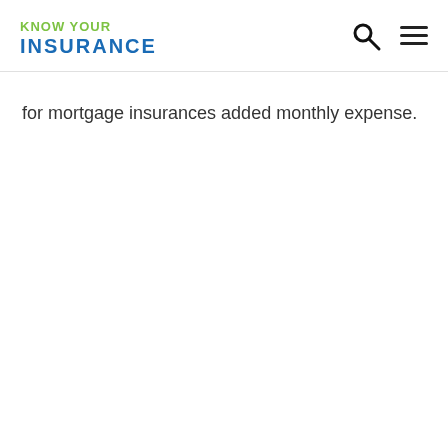KNOW YOUR INSURANCE
for mortgage insurances added monthly expense.